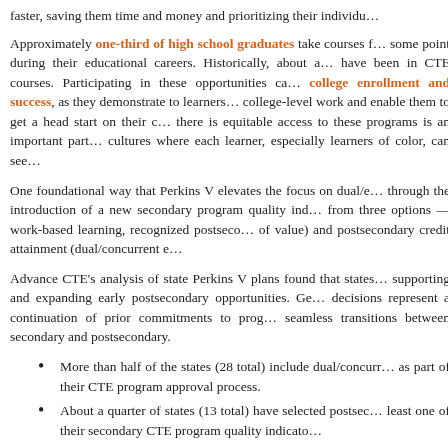faster, saving them time and money and prioritizing their individu...
Approximately one-third of high school graduates take courses f... some point during their educational careers. Historically, about a... have been in CTE courses. Participating in these opportunities ca... college enrollment and success, as they demonstrate to learners... college-level work and enable them to get a head start on their c... there is equitable access to these programs is an important part... cultures where each learner, especially learners of color, can see...
One foundational way that Perkins V elevates the focus on dual/e... through the introduction of a new secondary program quality ind... from three options — work-based learning, recognized postseco... of value) and postsecondary credit attainment (dual/concurrent e...
Advance CTE's analysis of state Perkins V plans found that states... supporting and expanding early postsecondary opportunities. Ge... decisions represent a continuation of prior commitments to prog... seamless transitions between secondary and postsecondary.
More than half of the states (28 total) include dual/concurr... as part of their CTE program approval process.
About a quarter of states (13 total) have selected postsec... least one of their secondary CTE program quality indicato...